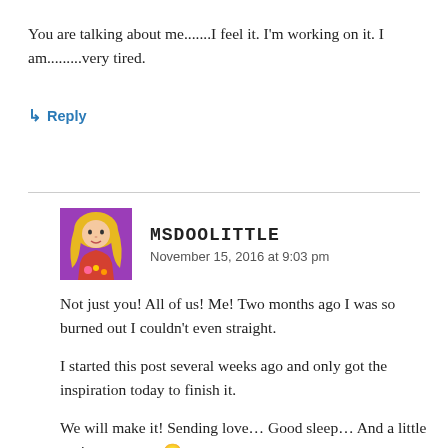You are talking about me.......I feel it. I'm working on it. I am.........very tired.
↳ Reply
MSDOOLITTLE
November 15, 2016 at 9:03 pm
Not just you! All of us! Me! Two months ago I was so burned out I couldn't even straight.
I started this post several weeks ago and only got the inspiration today to finish it.
We will make it! Sending love… Good sleep… And a little sanity your way 😀